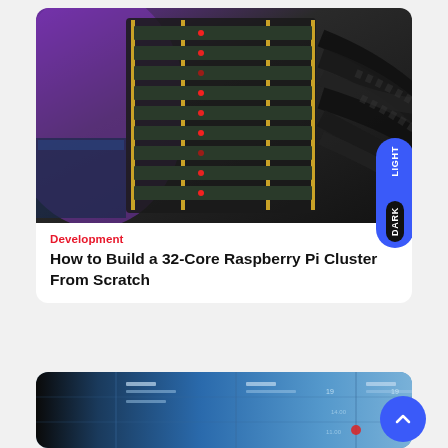[Figure (photo): Raspberry Pi cluster stack with red LED lights, gold standoff posts, multiple Pi boards, and black cables in background with purple lighting]
Development
How to Build a 32-Core Raspberry Pi Cluster From Scratch
[Figure (photo): Video wall / display screens showing calendar or scheduling information with blue tones]